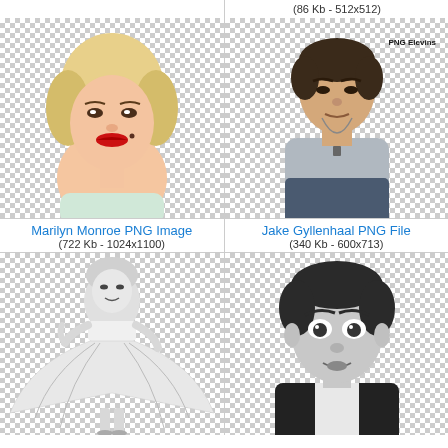(86 Kb - 512x512)
[Figure (photo): Marilyn Monroe color PNG image with transparent background]
Marilyn Monroe PNG Image
(722 Kb - 1024x1100)
[Figure (photo): Jake Gyllenhaal full body PNG file with transparent background, PNG Clawing watermark]
Jake Gyllenhaal PNG File
(340 Kb - 600x713)
[Figure (photo): Black and white Marilyn Monroe seven year itch dress PNG with transparent background]
[Figure (photo): Black and white Jake Gyllenhaal face close-up PNG with transparent background]